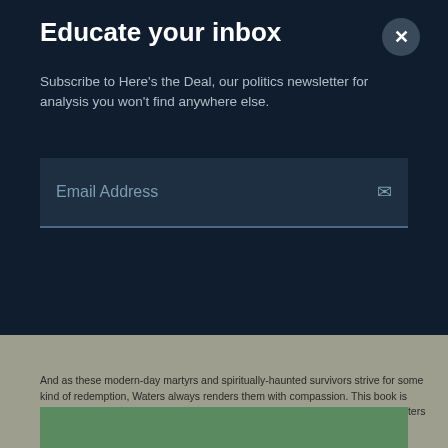Educate your inbox
Subscribe to Here's the Deal, our politics newsletter for analysis you won't find anywhere else.
Email Address
And as these modern-day martyrs and spiritually-haunted survivors strive for some kind of redemption, Waters always renders them with compassion. This book is ingenious, sometimes forbidding, often absurd, and altogether original. Don Waters is the author of two previous books, and winner of the Iowa Short Fiction Prize.
[Figure (photo): Partial image visible at bottom of page, appears to show green plant or food item on teal/green background.]